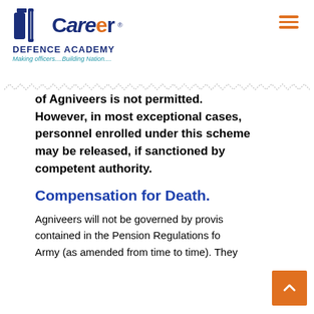[Figure (logo): Career Defence Academy logo with blue text, tagline 'Making officers....Building Nation....' and orange hamburger menu icon]
of Agniveers is not permitted. However, in most exceptional cases, personnel enrolled under this scheme may be released, if sanctioned by competent authority.
Compensation for Death.
Agniveers will not be governed by provisions contained in the Pension Regulations for Army (as amended from time to time). They